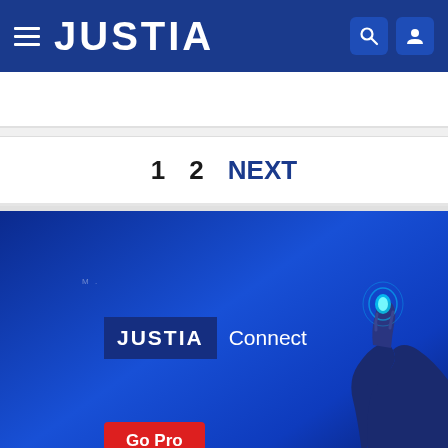JUSTIA
1  2  NEXT
[Figure (screenshot): Justia Connect promotional banner with blue gradient background, Justia Connect logo, a glowing hand illustration, and a red Go Pro button]